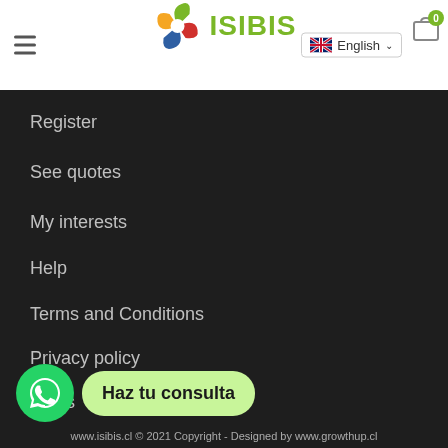[Figure (logo): ISIBIS logo with colorful swirl icon and green text, language selector showing English with UK flag, cart icon with badge 0]
Register
See quotes
My interests
Help
Terms and Conditions
Privacy policy
FAQs
[Figure (illustration): WhatsApp green circle button with phone icon and speech bubble saying 'Haz tu consulta']
www.isibis.cl © 2021 Copyright - Designed by www.growthup.cl